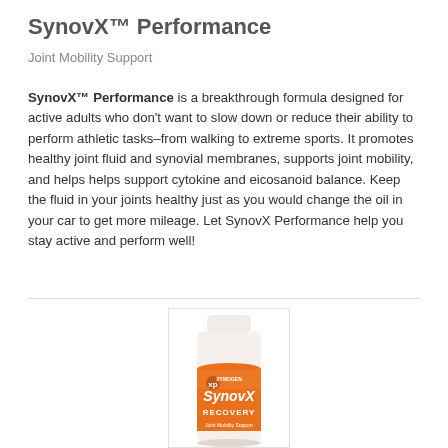SynovX™ Performance
Joint Mobility Support
SynovX™ Performance is a breakthrough formula designed for active adults who don't want to slow down or reduce their ability to perform athletic tasks–from walking to extreme sports. It promotes healthy joint fluid and synovial membranes, supports joint mobility, and helps helps support cytokine and eicosanoid balance. Keep the fluid in your joints healthy just as you would change the oil in your car to get more mileage. Let SynovX Performance help you stay active and perform well!
[Figure (photo): SynovX Recovery supplement bottle with orange label]